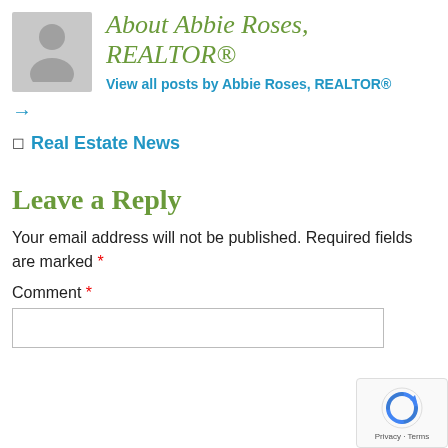[Figure (illustration): Gray placeholder avatar icon of a person silhouette]
About Abbie Roses, REALTOR®
View all posts by Abbie Roses, REALTOR®
→
Real Estate News
Leave a Reply
Your email address will not be published. Required fields are marked *
Comment *